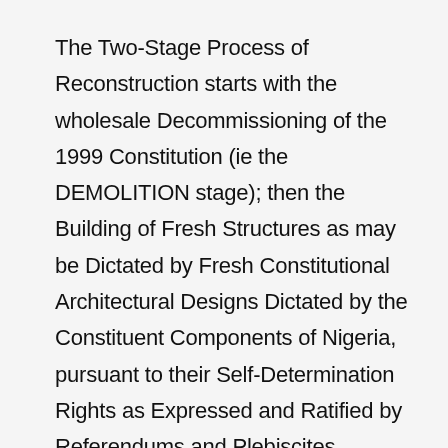The Two-Stage Process of Reconstruction starts with the wholesale Decommissioning of the 1999 Constitution (ie the DEMOLITION stage); then the Building of Fresh Structures as may be Dictated by Fresh Constitutional Architectural Designs Dictated by the Constituent Components of Nigeria, pursuant to their Self-Determination Rights as Expressed and Ratified by Referendums and Plebiscites.